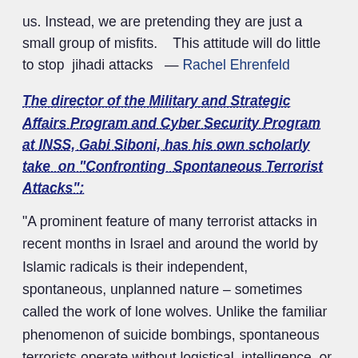us. Instead, we are pretending they are just a small group of misfits.    This attitude will do little to stop  jihadi attacks   — Rachel Ehrenfeld
The director of the Military and Strategic Affairs Program and Cyber Security Program at INSS, Gabi Siboni, has his own scholarly take  on "Confronting  Spontaneous Terrorist Attacks":
“A prominent feature of many terrorist attacks in recent months in Israel and around the world by Islamic radicals is their independent, spontaneous, unplanned nature – sometimes called the work of lone wolves. Unlike the familiar phenomenon of suicide bombings, spontaneous terrorists operate without logistical, intelligence, or operational support, and without the help of an organizational infrastructure. Therefore the phenomenon presents a serious challenge to the security